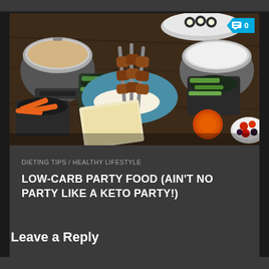[Figure (photo): Overhead view of a party food spread on a dark wooden table, featuring skewered meats on a blue platter, bowls with fondue pots, carrots, celery sticks, cucumber, peppers, berries, dipping sauces, and noodles. A comment badge showing '0' appears in the top right corner.]
DIETING TIPS / HEALTHY LIFESTYLE
LOW-CARB PARTY FOOD (AIN'T NO PARTY LIKE A KETO PARTY!)
Leave a Reply